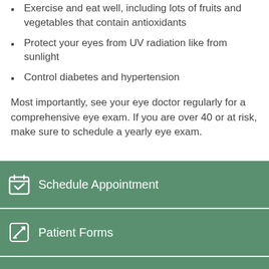Exercise and eat well, including lots of fruits and vegetables that contain antioxidants
Protect your eyes from UV radiation like from sunlight
Control diabetes and hypertension
Most importantly, see your eye doctor regularly for a comprehensive eye exam. If you are over 40 or at risk, make sure to schedule a yearly eye exam.
[Figure (infographic): Green button: Schedule Appointment with calendar-check icon]
[Figure (infographic): Green button: Patient Forms with pencil icon]
[Figure (infographic): Green button: Contact Us with envelope icon]
[Figure (infographic): Green button: Review Us with thumbs-up icon]